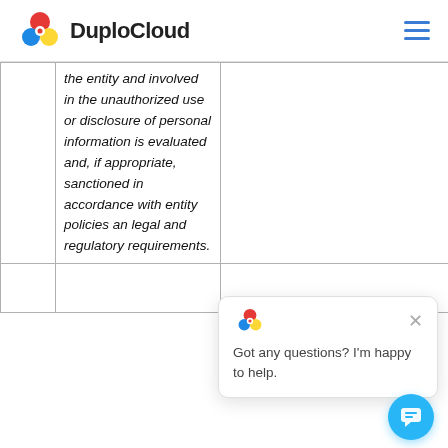DuploCloud
|  | the entity and involved in the unauthorized use or disclosure of personal information is evaluated and, if appropriate, sanctioned in accordance with entity policies and legal and regulatory requirements. |  |
|  |  |  |
[Figure (screenshot): DuploCloud chat popup widget with logo icon, close button, and message 'Got any questions? I'm happy to help.' and a blue circular chat button.]